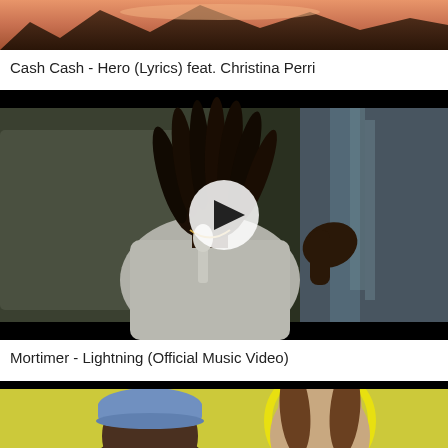[Figure (screenshot): Partial video thumbnail showing mountain/sunset scene for Cash Cash - Hero]
Cash Cash - Hero (Lyrics) feat. Christina Perri
[Figure (screenshot): Video thumbnail for Mortimer - Lightning (Official Music Video) showing a person with dreadlocks singing outdoors near a waterfall, with a play button overlay]
Mortimer - Lightning (Official Music Video)
[Figure (screenshot): Partial video thumbnail showing two people, one wearing a blue cap and one with long brown hair with yellow outline]